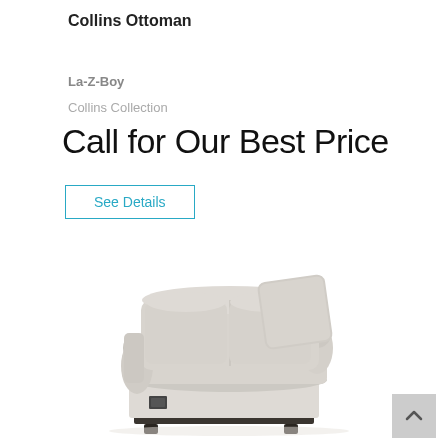Collins Ottoman
La-Z-Boy
Collins Collection
Call for Our Best Price
See Details
[Figure (photo): A light beige/cream upholstered corner chair with rolled arms, a cushioned back with a square pillow, a seat cushion, and a small power port on the front base. The chair has dark wooden feet.]